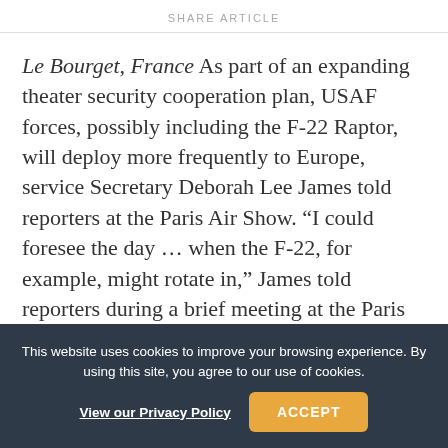SHARE ARTICLE
Le Bourget, France As part of an expanding theater security cooperation plan, USAF forces, possibly including the F-22 Raptor, will deploy more frequently to Europe, service Secretary Deborah Lee James told reporters at the Paris Air Show. “I could foresee the day … when the F-22, for example, might rotate in,” James told reporters during a brief meeting at the Paris Air Show. “I see no reason why that couldn’t
This website uses cookies to improve your browsing experience. By using this site, you agree to our use of cookies. View our Privacy Policy
ACCEPT